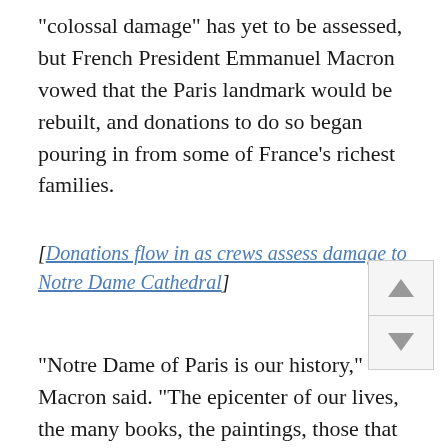“colossal damage” has yet to be assessed, but French President Emmanuel Macron vowed that the Paris landmark would be rebuilt, and donations to do so began pouring in from some of France’s richest families.
[Donations flow in as crews assess damage to Notre Dame Cathedral]
“Notre Dame of Paris is our history,” Macron said. “The epicenter of our lives, the many books, the paintings, those that belong to all French men and French women